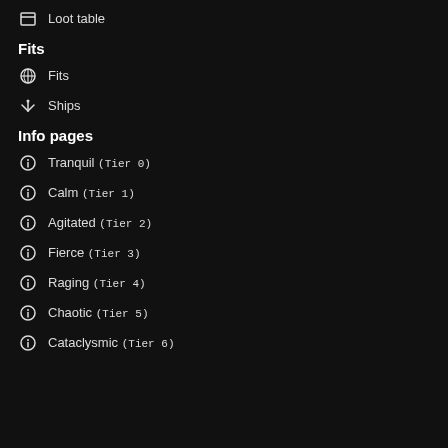Loot table
Fits
Fits
Ships
Info pages
Tranquil (Tier 0)
Calm (Tier 1)
Agitated (Tier 2)
Fierce (Tier 3)
Raging (Tier 4)
Chaotic (Tier 5)
Cataclysmic (Tier 6)